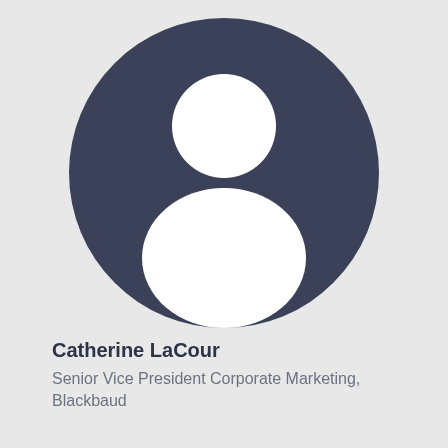[Figure (illustration): Generic user avatar icon: dark blue-gray circle containing a white silhouette of a person (head circle above a rounded body shape)]
Catherine LaCour
Senior Vice President Corporate Marketing, Blackbaud